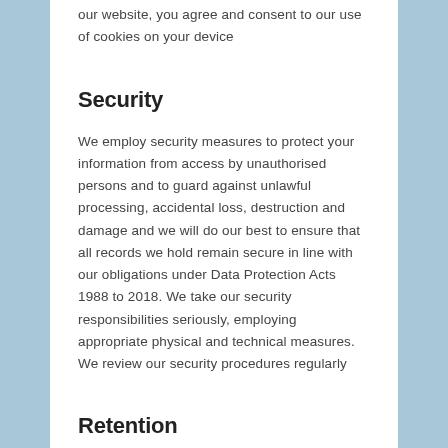our website, you agree and consent to our use of cookies on your device
Security
We employ security measures to protect your information from access by unauthorised persons and to guard against unlawful processing, accidental loss, destruction and damage and we will do our best to ensure that all records we hold remain secure in line with our obligations under Data Protection Acts 1988 to 2018. We take our security responsibilities seriously, employing appropriate physical and technical measures. We review our security procedures regularly
Retention